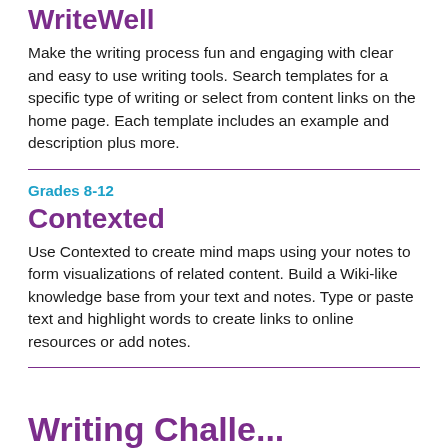WriteWell
Make the writing process fun and engaging with clear and easy to use writing tools. Search templates for a specific type of writing or select from content links on the home page. Each template includes an example and description plus more.
Grades 8-12
Contexted
Use Contexted to create mind maps using your notes to form visualizations of related content. Build a Wiki-like knowledge base from your text and notes. Type or paste text and highlight words to create links to online resources or add notes.
Writing Chall...